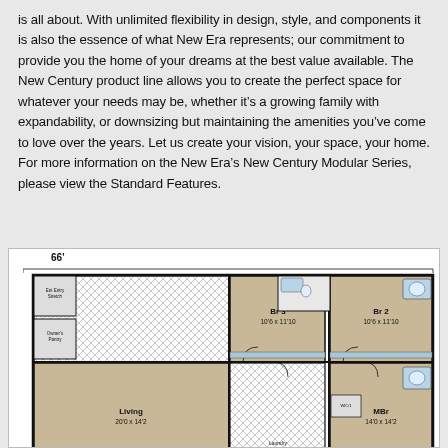is all about. With unlimited flexibility in design, style, and components it is also the essence of what New Era represents; our commitment to provide you the home of your dreams at the best value available. The New Century product line allows you to create the perfect space for whatever your needs may be, whether it's a growing family with expandability, or downsizing but maintaining the amenities you've come to love over the years. Let us create your vision, your space, your home. For more information on the New Era's New Century Modular Series, please view the Standard Features.
[Figure (engineering-diagram): Floor plan of a modular home showing rooms: Living 20'0 x 14'2, MBr 14'0 x 14'2, Br 2 10'6 x 11'10, Br 3 10'6 x 11'10. Total width 66 feet.]